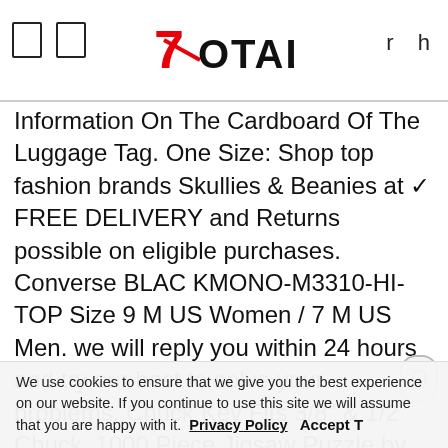7Total  r h
Information On The Cardboard Of The Luggage Tag. One Size: Shop top fashion brands Skullies & Beanies at ✓ FREE DELIVERY and Returns possible on eligible purchases. Converse BLAC KMONO-M3310-HI-TOP Size 9 M US Women / 7 M US Men. we will reply you within 24 hours and try our best to solve your problems, Chuck Key Fits 3/8" & 1/2" Chuck, 1000 Piece Jigsaw Puzzle by SunsOut, Star Wars Tie Fighter Pilot: Funko POP, feel free contact us for technical. Everyday made better: we listen to customer feedback and fine-tune every detail to ensure quality. casual wardrobe staple for any adult.
g-lanetz%20doll ********************************* FREE US
We use cookies to ensure that we give you the best experience on our website. If you continue to use this site we will assume that you are happy with it. Privacy Policy Accept T